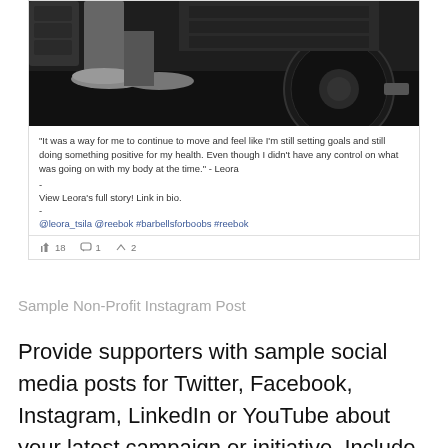[Figure (photo): Black and white photo of a person's legs and feet in athletic shoes standing near a barbell weight plate in a gym]
"It was a way for me to continue to move and feel like I'm still setting goals and still doing something positive for my health. Even though I didn't have any control on what was going on with my body at the time." - Leora
-
View Leora's full story! Link in bio.
-
@leora_tsila @reebok #barbellsforboobs #reebok
👍 18   💬 1   ➤ 2
Sample Non-Profit Instagram Post
Provide supporters with sample social media posts for Twitter, Facebook, Instagram, LinkedIn or YouTube about your latest campaign or initiative. Include easy-to-understand prompts for sharing, provide a branded hashtag with each post and encourage supporters to